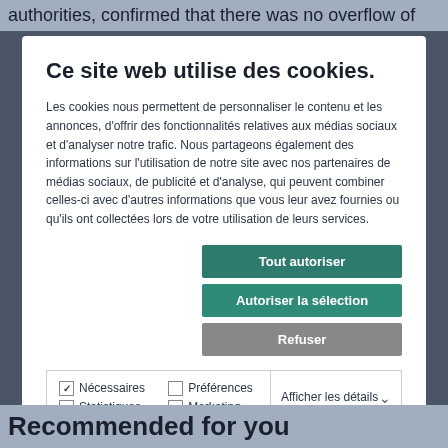authorities, confirmed that there was no overflow of
Ce site web utilise des cookies.
Les cookies nous permettent de personnaliser le contenu et les annonces, d'offrir des fonctionnalités relatives aux médias sociaux et d'analyser notre trafic. Nous partageons également des informations sur l'utilisation de notre site avec nos partenaires de médias sociaux, de publicité et d'analyse, qui peuvent combiner celles-ci avec d'autres informations que vous leur avez fournies ou qu'ils ont collectées lors de votre utilisation de leurs services.
Tout autoriser
Autoriser la sélection
Refuser
✓ Nécessaires   □ Préférences   □ Statistiques   □ Marketing   Afficher les détails
Recommended for you